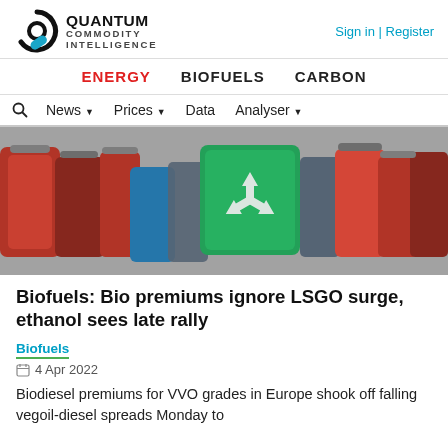[Figure (logo): Quantum Commodity Intelligence logo with stylized Q icon and text]
Sign in | Register
ENERGY   BIOFUELS   CARBON
Search  News  Prices  Data  Analyser
[Figure (photo): Fuel canisters with a green recycling-symbol crate in the center, surrounded by red and metallic fuel cans]
Biofuels: Bio premiums ignore LSGO surge, ethanol sees late rally
Biofuels
4 Apr 2022
Biodiesel premiums for VVO grades in Europe shook off falling vegoil-diesel spreads Monday to